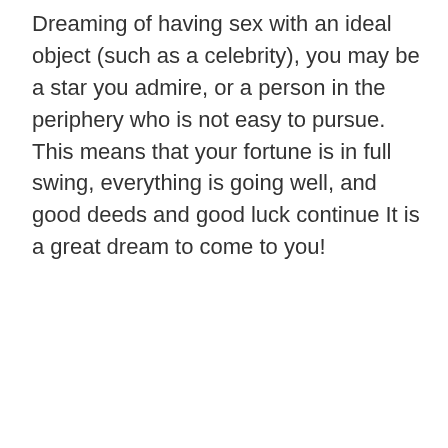Dreaming of having sex with an ideal object (such as a celebrity), you may be a star you admire, or a person in the periphery who is not easy to pursue. This means that your fortune is in full swing, everything is going well, and good deeds and good luck continue It is a great dream to come to you!